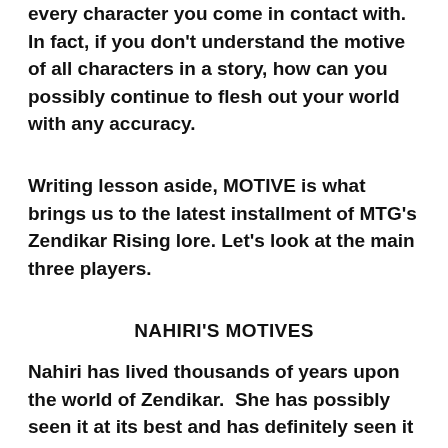every character you come in contact with.  In fact, if you don't understand the motive of all characters in a story, how can you possibly continue to flesh out your world with any accuracy.
Writing lesson aside, MOTIVE is what brings us to the latest installment of MTG's Zendikar Rising lore. Let's look at the main three players.
NAHIRI'S MOTIVES
Nahiri has lived thousands of years upon the world of Zendikar.  She has possibly seen it at its best and has definitely seen it at its worst (AKA Eldrazi invasion).  She remembers more things about Zendikar than most all of the other residents